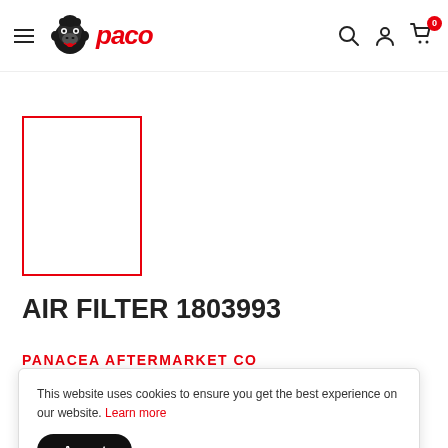[Figure (logo): Paco brand logo with gorilla icon and red italic 'paco' text]
[Figure (photo): Product image placeholder with red border for AIR FILTER 1803993]
AIR FILTER 1803993
PANACEA AFTERMARKET CO
This website uses cookies to ensure you get the best experience on our website. Learn more
Accept